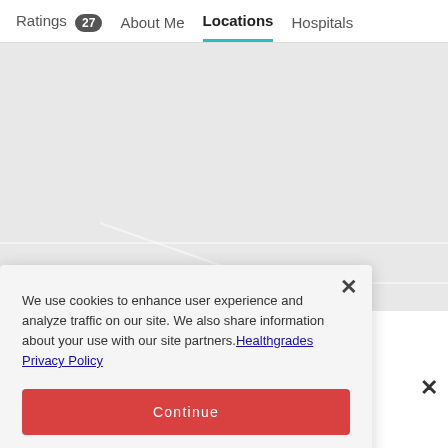Ratings 27   About Me   Locations   Hospitals
[Figure (map): Map background showing geographic area with location markers, partially obscured by cookie consent modal]
We use cookies to enhance user experience and analyze traffic on our site. We also share information about your use with our site partners. Healthgrades Privacy Policy
Continue
Access my Privacy Preferences